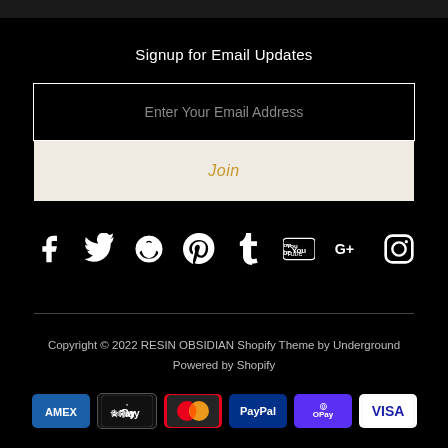Signup for Email Updates
Enter Your Email Address
Join
[Figure (infographic): Row of social media icons: Facebook, Twitter, Pinterest, Tumblr, YouTube, Google+, Instagram]
Copyright © 2022 RESIN OBSIDIAN Shopify Theme by Underground
Powered by Shopify
[Figure (infographic): Payment method badges: AMEX, Apple Pay, Mastercard, PayPal, Shop Pay, VISA]